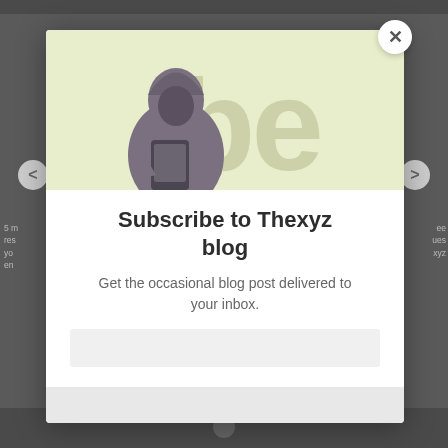[Figure (screenshot): Screenshot of a website with a modal popup overlay. The background shows a blog page with navigation arrows and partial text. A modal dialog is centered on screen.]
Subscribe to Thexyz blog
Get the occasional blog post delivered to your inbox.